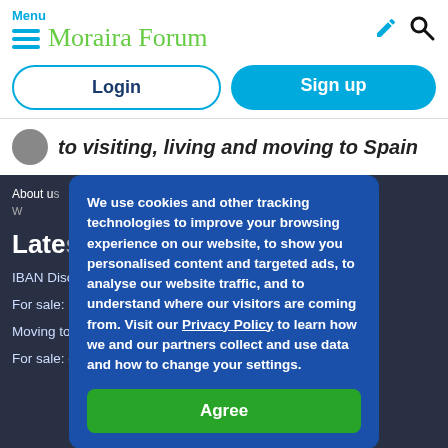Menu — Moraira Forum
Login
Sign up
to visiting, living and moving to Spain
We use cookies and other tracking technologies to improve your browsing experience on our website, to show you personalised content and targeted ads, to analyse our website traffic, and to understand where our visitors are coming from. Visit our Privacy Policy to learn how we and our partners collect and use data and how to change your settings.
Agree
About u... | ...website |
W... es
Latest
IBAN Discrimination
For sale: RIP CURL wet Suit
Moving to Moraira
For sale: child's high chair